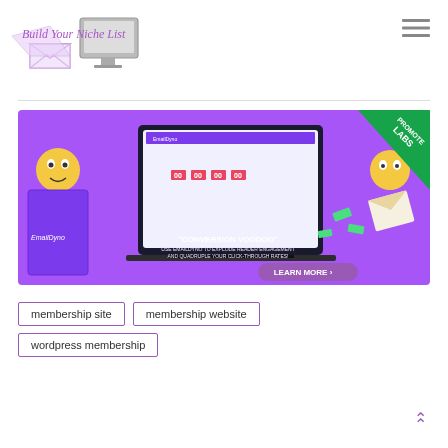[Figure (logo): Build Your Niche List logo with envelope icon and computer monitor illustration, purple italic text]
[Figure (screenshot): EmailDyno promotional banner with purple background, laptop screenshot, cartoon characters, 'CONVERSION VOODOO' text, 'LEARN MORE' button, and 'PROMOTE LABS' badge]
membership site
membership website
wordpress membership